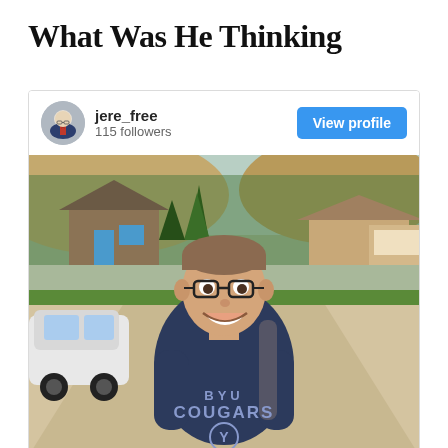What Was He Thinking
jere_free
115 followers
[Figure (photo): Instagram-style card showing a smiling teenage boy wearing a BYU Cougars navy blue t-shirt and backpack, standing on a suburban driveway with houses, trees, hills, and parked cars in the background. The card has a user profile header with username 'jere_free', '115 followers', and a blue 'View profile' button.]